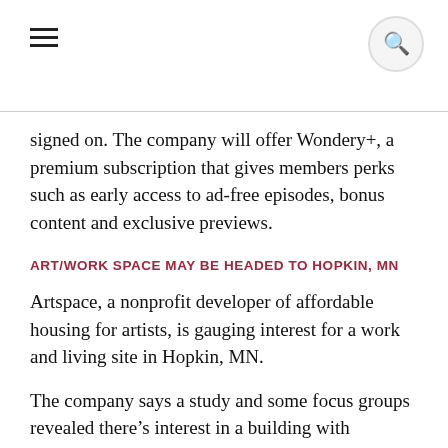[navigation bar with hamburger menu and search icon]
signed on. The company will offer Wondery+, a premium subscription that gives members perks such as early access to ad-free episodes, bonus content and exclusive previews.
ART/WORK SPACE MAY BE HEADED TO HOPKIN, MN
Artspace, a nonprofit developer of affordable housing for artists, is gauging interest for a work and living site in Hopkin, MN.
The company says a study and some focus groups revealed there’s interest in a building with housing, community gathering space, and private studio space. They have already toured seven potential sites on or near Main street, within walking distance of Hopkin Center for